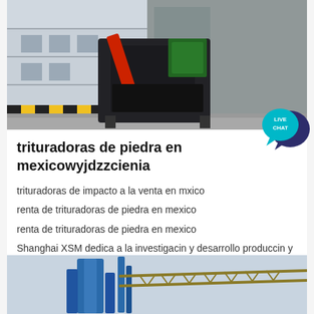[Figure (photo): Industrial stone crusher machine photographed outdoors on gravel, with black body and red/orange components, industrial building in background with yellow-black safety markings]
trituradoras de piedra en mexicowyjdzzcienia
trituradoras de impacto a la venta en mxico

renta de trituradoras de piedra en mexico

renta de trituradoras de piedra en mexico

Shanghai XSM dedica a la investigacin y desarrollo produccin y
Get Price
[Figure (photo): Industrial facility with blue silos/towers and a metal truss bridge/conveyor structure against a cloudy sky]